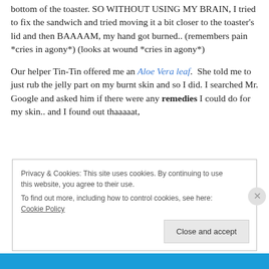bottom of the toaster. SO WITHOUT USING MY BRAIN, I tried to fix the sandwich and tried moving it a bit closer to the toaster's lid and then BAAAAM, my hand got burned.. (remembers pain *cries in agony*) (looks at wound *cries in agony*)
Our helper Tin-Tin offered me an Aloe Vera leaf. She told me to just rub the jelly part on my burnt skin and so I did. I searched Mr. Google and asked him if there were any remedies I could do for my skin.. and I found out thaaaaat,
Privacy & Cookies: This site uses cookies. By continuing to use this website, you agree to their use. To find out more, including how to control cookies, see here: Cookie Policy
Close and accept